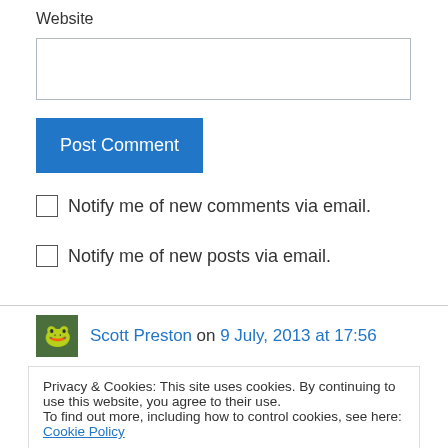Website
[Figure (screenshot): Empty text input field for website URL]
Post Comment
Notify me of new comments via email.
Notify me of new posts via email.
Scott Preston on 9 July, 2013 at 17:56
Privacy & Cookies: This site uses cookies. By continuing to use this website, you agree to their use.
To find out more, including how to control cookies, see here: Cookie Policy
Close and accept
its own dangers of extinction"